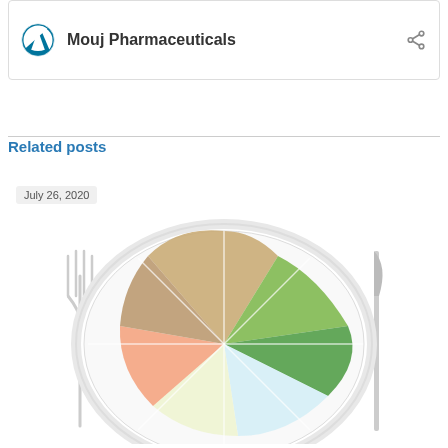[Figure (logo): WordPress logo with 'Mouj Pharmaceuticals' title and share icon in a card]
Related posts
July 26, 2020
[Figure (photo): A white dinner plate arranged as a pie chart of food groups — grains/bread, vegetables/fruits, meats/proteins, dairy products — with a fork on the left and a knife on the right]